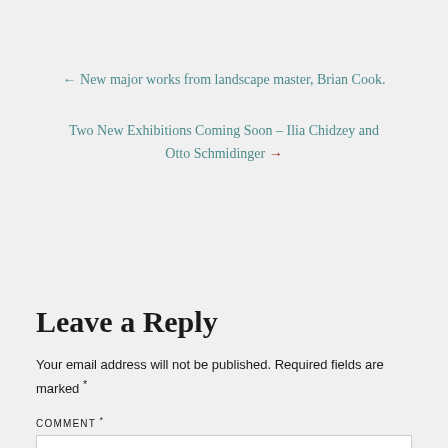← New major works from landscape master, Brian Cook.
Two New Exhibitions Coming Soon – Ilia Chidzey and Otto Schmidinger →
Leave a Reply
Your email address will not be published. Required fields are marked *
COMMENT *